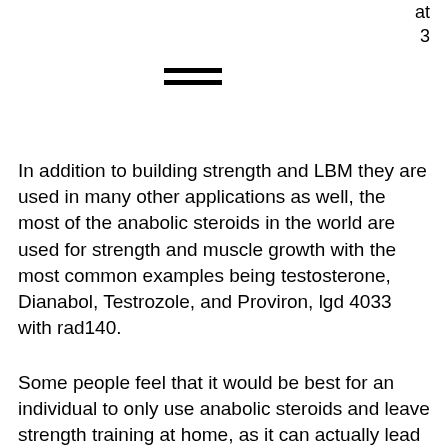at
3
[Figure (other): Hamburger menu icon — two horizontal lines]
In addition to building strength and LBM they are used in many other applications as well, the most of the anabolic steroids in the world are used for strength and muscle growth with the most common examples being testosterone, Dianabol, Testrozole, and Proviron, lgd 4033 with rad140.
Some people feel that it would be best for an individual to only use anabolic steroids and leave strength training at home, as it can actually lead to injuries. Other people believe that strength training needs to be done at the same time an anabolic steroids are being used as they are more effective than anabolic steroids alone.